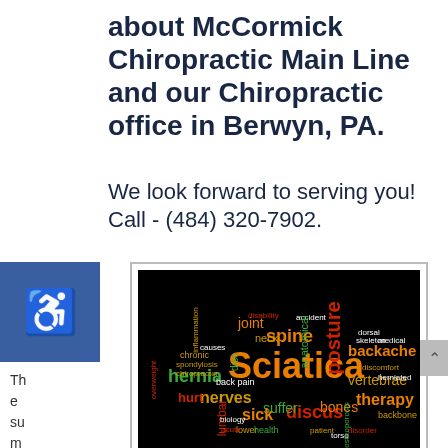about McCormick Chiropractic Main Line and our Chiropractic office in Berwyn, PA.
We look forward to serving you! Call - (484) 320-7902.
[Figure (other): Accessibility icon (wheelchair symbol) on blue background]
The summer season is
[Figure (infographic): Word cloud on black background with chiropractic-related terms including Sciatica (large orange), posture, backache, hernia, spine, vertebrae, therapy, nerves, discus, bones, lumbar, sick, suffer, and many smaller terms in various colors (orange, red, yellow, green, white)]